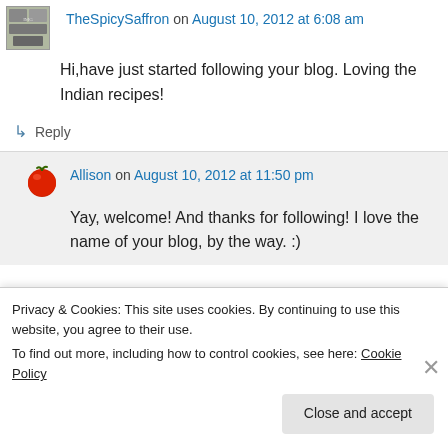TheSpicySaffron on August 10, 2012 at 6:08 am
Hi,have just started following your blog. Loving the Indian recipes!
↳ Reply
Allison on August 10, 2012 at 11:50 pm
Yay, welcome! And thanks for following! I love the name of your blog, by the way. :)
Privacy & Cookies: This site uses cookies. By continuing to use this website, you agree to their use.
To find out more, including how to control cookies, see here: Cookie Policy
Close and accept